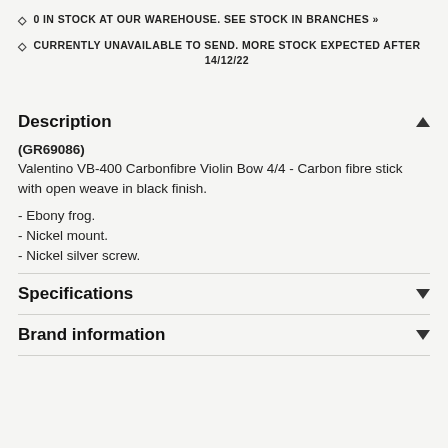0 IN STOCK AT OUR WAREHOUSE. SEE STOCK IN BRANCHES »
CURRENTLY UNAVAILABLE TO SEND. MORE STOCK EXPECTED AFTER 14/12/22
Description
(GR69086)
Valentino VB-400 Carbonfibre Violin Bow 4/4 - Carbon fibre stick with open weave in black finish.
- Ebony frog.
- Nickel mount.
- Nickel silver screw.
Specifications
Brand information